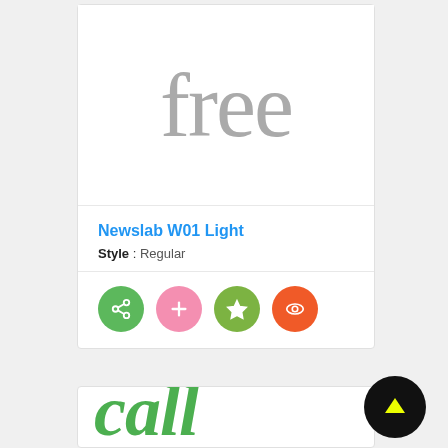[Figure (screenshot): Font preview card showing the word 'free' in large light gray serif font (Newslab W01 Light, Regular style), with font name in blue, style info, and four circular action buttons (share, add, favorite, preview) in green, pink, dark-green, and orange-red respectively.]
Newslab W01 Light
Style : Regular
[Figure (screenshot): Partial font preview card showing the bottom portion, with large green italic/bold characters partially visible at the bottom of the page.]
[Figure (illustration): Black circular button with a yellow upward arrow, positioned at lower right of page.]